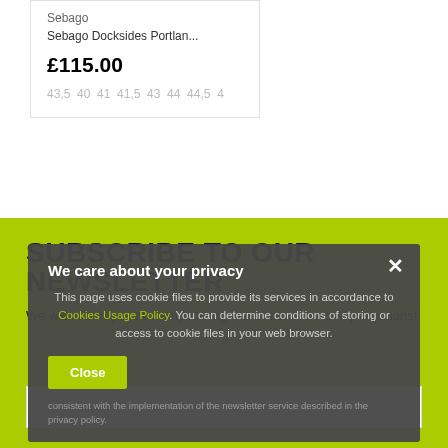Sebago
Sebago Docksides Portlan...
£115.00
43,5  40  41  41,5  43  44  44,5  4
SUBSCRIBE TO OUR NEWSLETTER
We will inform you about upcoming launches, news and promotions!
We care about your privacy
This page uses cookie files to provide its services in accordance to Cookies Usage Policy. You can determine conditions of storing or access to cookie files in your web browser.
Close
consistent with the implementation of the newsletter service described in the privacy policy.
Your name